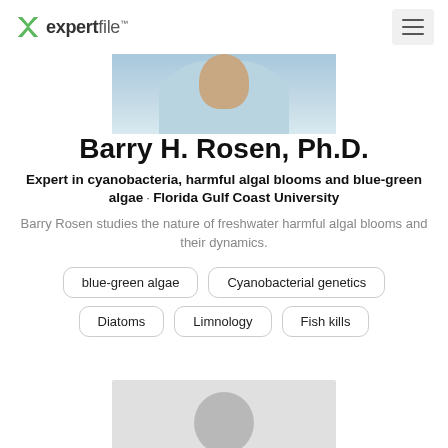expertfile™
[Figure (photo): Partial photo of Barry H. Rosen, cropped at shoulders, light blue shirt]
Barry H. Rosen, Ph.D.
Expert in cyanobacteria, harmful algal blooms and blue-green algae · Florida Gulf Coast University
Barry Rosen studies the nature of freshwater harmful algal blooms and their dynamics.
blue-green algae
Cyanobacterial genetics
Diatoms
Limnology
Fish kills
[Figure (photo): Generic avatar/placeholder profile photo with gray silhouette on light gray background]